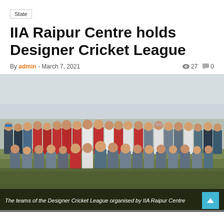State
IIA Raipur Centre holds Designer Cricket League
By admin - March 7, 2021 | 27 views | 0 comments
[Figure (photo): Group photo of the teams of the Designer Cricket League organised by IIA Raipur Centre on a cricket ground. Players wearing red and grey/blue jerseys posed together.]
The teams of the Designer Cricket League organised by IIA Raipur Centre